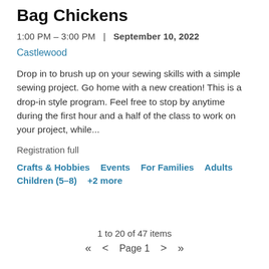Bag Chickens
1:00 PM – 3:00 PM  |  September 10, 2022
Castlewood
Drop in to brush up on your sewing skills with a simple sewing project. Go home with a new creation! This is a drop-in style program. Feel free to stop by anytime during the first hour and a half of the class to work on your project, while...
Registration full
Crafts & Hobbies
Events
For Families
Adults
Children (5–8)
+2 more
1 to 20 of 47 items
« < Page 1 > »